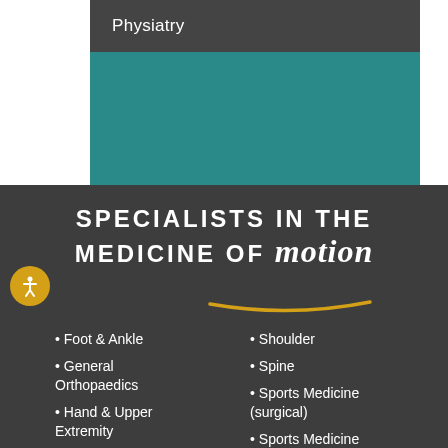Physiatry
SPECIALISTS IN THE MEDICINE OF motion
Foot & Ankle
General Orthopaedics
Hand & Upper Extremity
Hip & Knee
Hip Arthroscopy
Shoulder
Spine
Sports Medicine (surgical)
Sports Medicine (non-surgical)
Sports